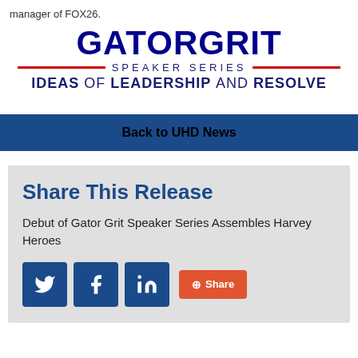manager of FOX26.
[Figure (logo): Gator Grit Speaker Series logo with tagline IDEAS OF LEADERSHIP AND RESOLVE]
Back to UHD News
Share This Release
Debut of Gator Grit Speaker Series Assembles Harvey Heroes